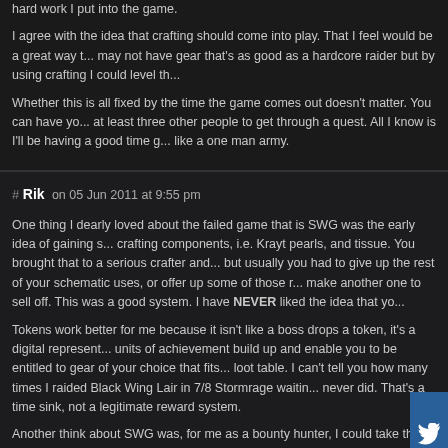hard work I put into the game.
I agree with the idea that crafting should come into play. That I feel would be a great way t... may not have gear that's as good as a hardcore raider but by using crafting I could level th...
Whether this is all fixed by the time the game comes out doesn't matter. You can have yo... at least three other people to get through a quest. All I know is I'll be having a good time g... like a one man army.
# Rik on 05 Jun 2011 at 9:55 pm
One thing I dearly loved about the failed game that is SWG was the early idea of gaining s... crafting components, i.e. Krayt pearls, and tissue. You brought that to a serious crafter and... but usually you had to give up the rest of your schematic uses, or offer up some of those r... make another one to sell off. This was a good system. I have NEVER liked the idea that yo...
Tokens work better for me because it isn't like a boss drops a token, it's a digital represent... units of achievement build up and enable you to be entitled to gear of your choice that fits... loot table. I can't tell you how many times I raided Black Wing Lair in 7/8 Stormrage waitin... never did. That's a time sink, not a legitimate reward system.
Another think about SWG was, for me as a bounty hunter, I could take the highest N... double gold (Elite) mark. 90% I was not capable of taking that dude down, and I cou... the fight made my mark untargetable to others, as well as not allowing me to be hea... mark. These were very difficult fights, and most of the time required as much luck (f...